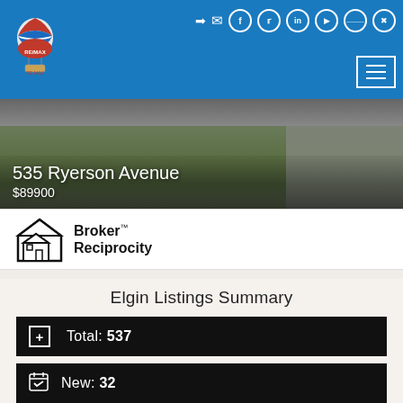[Figure (logo): RE/MAX logo with hot air balloon and red/white/blue coloring]
535 Ryerson Avenue
$89900
[Figure (logo): Broker Reciprocity logo with house icon]
Elgin Listings Summary
Total: 537
New: 32